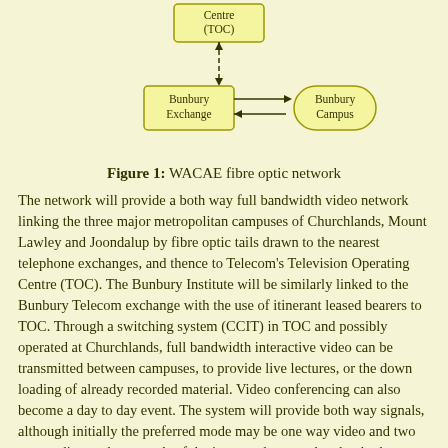[Figure (flowchart): Diagram showing WACAE fibre optic network: a box labeled 'Centre (TOC)' at top, connected by a double-headed dashed vertical arrow down to a box labeled 'Bunbury Exchange', which is connected by a double-headed horizontal arrow to a rounded box labeled 'Bunbury Campus'.]
Figure 1: WACAE fibre optic network
The network will provide a both way full bandwidth video network linking the three major metropolitan campuses of Churchlands, Mount Lawley and Joondalup by fibre optic tails drawn to the nearest telephone exchanges, and thence to Telecom's Television Operating Centre (TOC). The Bunbury Institute will be similarly linked to the Bunbury Telecom exchange with the use of itinerant leased bearers to TOC. Through a switching system (CCIT) in TOC and possibly operated at Churchlands, full bandwidth interactive video can be transmitted between campuses, to provide live lectures, or the down loading of already recorded material. Video conferencing can also become a day to day event. The system will provide both way signals, although initially the preferred mode may be one way video and two way audio, on the grounds of the increased costs related to both way transmission.
By routing the network through the Perth TOC, the network can